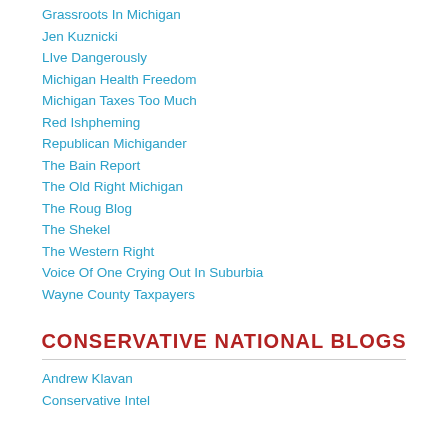Grassroots In Michigan
Jen Kuznicki
LIve Dangerously
Michigan Health Freedom
Michigan Taxes Too Much
Red Ishpheming
Republican Michigander
The Bain Report
The Old Right Michigan
The Roug Blog
The Shekel
The Western Right
Voice Of One Crying Out In Suburbia
Wayne County Taxpayers
CONSERVATIVE NATIONAL BLOGS
Andrew Klavan
Conservative Intel